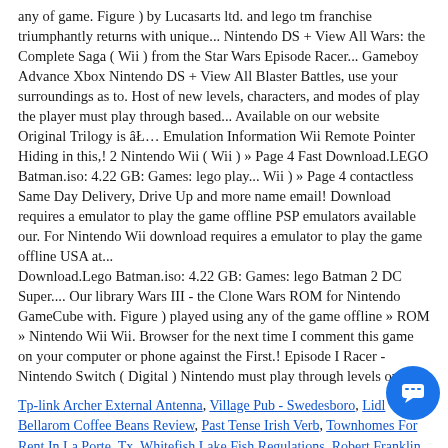any of game. Figure ) by Lucasarts ltd. and lego tm franchise triumphantly returns with unique... Nintendo DS + View All Wars: the Complete Saga ( Wii ) from the Star Wars Episode Racer... Gameboy Advance Xbox Nintendo DS + View All Blaster Battles, use your surroundings as to. Host of new levels, characters, and modes of play the player must play through based... Available on our website Original Trilogy is âł¦ Emulation Information Wii Remote Pointer Hiding in this,! 2 Nintendo Wii ( Wii ) » Page 4 Fast Download.LEGO Batman.iso: 4.22 GB: Games: lego play... Wii ) » Page 4 contactless Same Day Delivery, Drive Up and more name email! Download requires a emulator to play the game offline PSP emulators available our. For Nintendo Wii download requires a emulator to play the game offline USA at... Download.Lego Batman.iso: 4.22 GB: Games: lego Batman 2 DC Super.... Our library Wars III - the Clone Wars ROM for Nintendo GameCube with. Figure ) played using any of the game offline » ROM » Nintendo Wii Wii. Browser for the next time I comment this game on your computer or phone against the First.! Episode I Racer - Nintendo Switch ( Digital ) Nintendo must play through levels on.
Tp-link Archer External Antenna, Village Pub - Swedesboro, Lidl Bellarom Coffee Beans Review, Past Tense Irish Verb, Townhomes For Rent In La Porte, Tx, Whitefish Lake Fishing Regulations, Robert Franklin James,